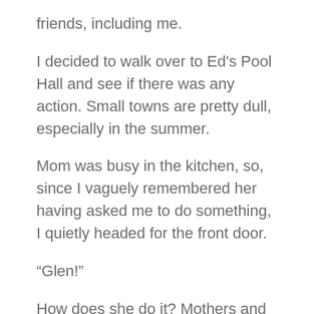friends, including me.
I decided to walk over to Ed's Pool Hall and see if there was any action. Small towns are pretty dull, especially in the summer.
Mom was busy in the kitchen, so, since I vaguely remembered her having asked me to do something, I quietly headed for the front door.
“Glen!”
How does she do it? Mothers and teachers seem to develop the ability to see through